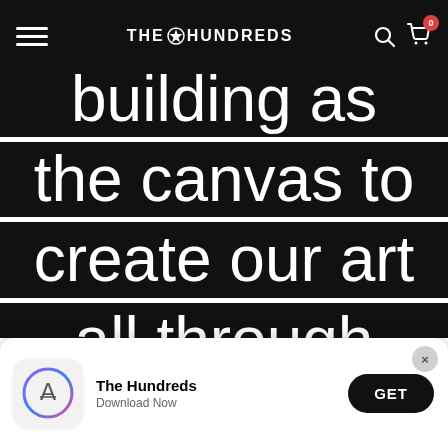THE HUNDREDS
building as the canvas to create our art all through the foundation of
[Figure (screenshot): App store download banner for The Hundreds app with icon, name, Download Now subtitle, and GET button]